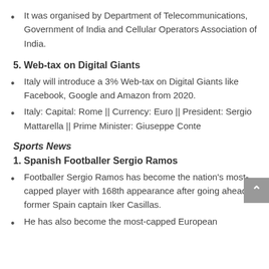It was organised by Department of Telecommunications, Government of India and Cellular Operators Association of India.
5. Web-tax on Digital Giants
Italy will introduce a 3% Web-tax on Digital Giants like Facebook, Google and Amazon from 2020.
Italy: Capital: Rome || Currency: Euro || President: Sergio Mattarella || Prime Minister: Giuseppe Conte
Sports News
1. Spanish Footballer Sergio Ramos
Footballer Sergio Ramos has become the nation's most-capped player with 168th appearance after going ahead of former Spain captain Iker Casillas.
He has also become the most-capped European